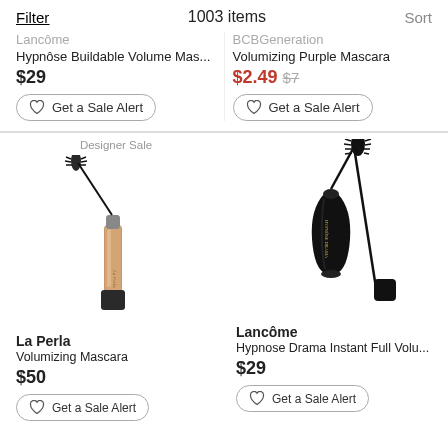Filter   1003 items   Sort
Lancôme
Hypnôse Buildable Volume Mas...
$29
Get a Sale Alert
BCBGeneration
Voluming Purple Mascara
$2.49 $7
Get a Sale Alert
Designer Sale
[Figure (photo): La Perla rose gold mascara tube with black wand open beside it]
La Perla
Volumizing Mascara
$50
Get a Sale Alert
[Figure (photo): Lancôme black Hypnose Drama mascara tube with wand open beside it]
Lancôme
Hypnose Drama Instant Full Volu...
$29
Get a Sale Alert